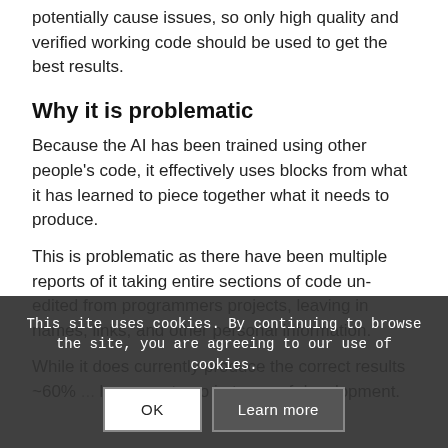potentially cause issues, so only high quality and verified working code should be used to get the best results.
Why it is problematic
Because the AI has been trained using other people's code, it effectively uses blocks from what it has learned to piece together what it needs to produce.
This is problematic as there have been multiple reports of it taking entire sections of code un-edited from programmers projects, leaving in names, links, and other personal information.
While it does currently produce the correct results ~60% ... long way to go in terms of development.
This site uses cookies. By continuing to browse the site, you are agreeing to our use of cookies.